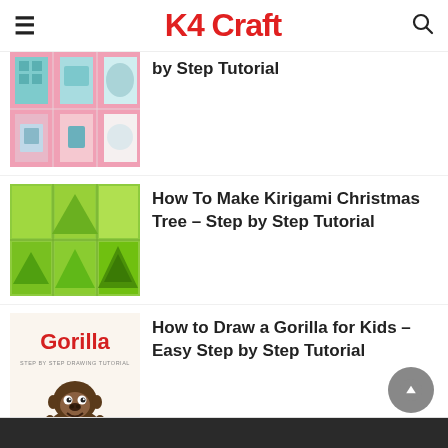K4 Craft
[Figure (photo): Grid of origami folding steps with blue paper on pink background]
by Step Tutorial
[Figure (photo): Grid of kirigami Christmas tree folding steps with green paper]
How To Make Kirigami Christmas Tree – Step by Step Tutorial
[Figure (illustration): Gorilla drawing tutorial thumbnail with red Gorilla text and cartoon gorilla illustration on light background]
How to Draw a Gorilla for Kids – Easy Step by Step Tutorial